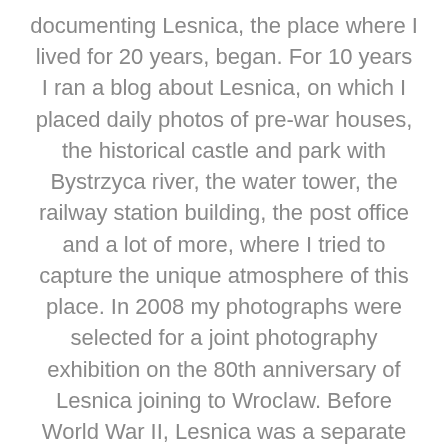documenting Lesnica, the place where I lived for 20 years, began. For 10 years I ran a blog about Lesnica, on which I placed daily photos of pre-war houses, the historical castle and park with Bystrzyca river, the water tower, the railway station building, the post office and a lot of more, where I tried to capture the unique atmosphere of this place. In 2008 my photographs were selected for a joint photography exhibition on the 80th anniversary of Lesnica joining to Wroclaw. Before World War II, Lesnica was a separate german town called Deutsch Lissa and only in 1928 did it become part of Breslau (called Wroclaw after WWII). My blog was awarded in the competition for the best